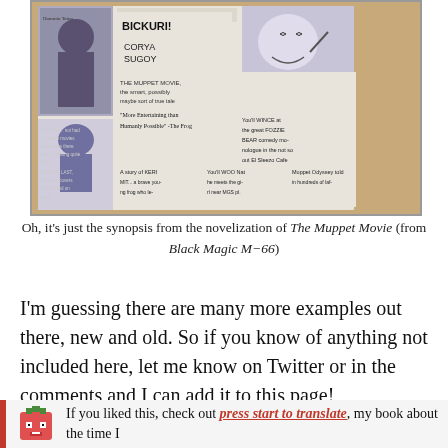[Figure (photo): Photo of an open book/manga page showing an illustrated comic-style synopsis of The Muppet Movie, with hand-written style text and cartoon drawings including characters and review blurbs.]
Oh, it's just the synopsis from the novelization of The Muppet Movie (from Black Magic M-66)
I'm guessing there are many more examples out there, new and old. So if you know of anything not included here, let me know on Twitter or in the comments and I can add it to this page!
If you liked this, check out press start to translate, my book about the time I [continues]